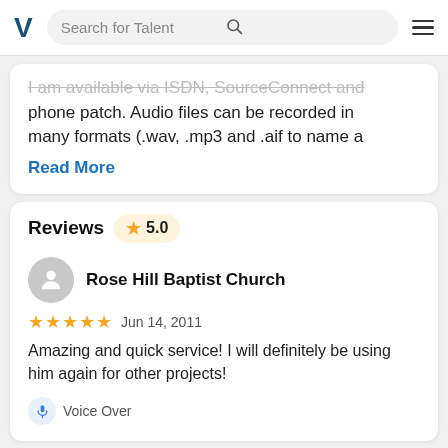Search for Talent
I am available via ISDN, SourceConnect and phone patch. Audio files can be recorded in many formats (.wav, .mp3 and .aif to name a
Read More
Reviews  5.0
Rose Hill Baptist Church
★★★★★ Jun 14, 2011
Amazing and quick service! I will definitely be using him again for other projects!
Voice Over